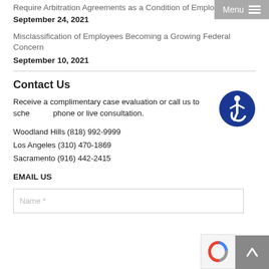Require Arbitration Agreements as a Condition of Employment
September 24, 2021
Misclassification of Employees Becoming a Growing Federal Concern
September 10, 2021
Contact Us
Receive a complimentary case evaluation or call us to schedule a phone or live consultation.
Woodland Hills (818) 992-9999
Los Angeles (310) 470-1869
Sacramento (916) 442-2415
EMAIL US
[Figure (other): Accessibility icon - blue circle with wheelchair symbol]
[Figure (other): reCAPTCHA widget partial view]
[Figure (other): Scroll to top button with upward arrow]